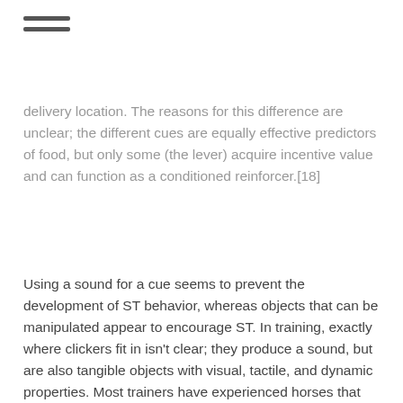≡
delivery location.  The reasons for this difference are unclear; the different cues are equally effective predictors of food, but only some (the lever) acquire incentive value and can function as a conditioned reinforcer.[18]
Using a sound for a cue seems to prevent the development of ST behavior, whereas objects that can be manipulated appear to encourage ST.  In training, exactly where clickers fit in isn't clear; they produce a sound, but are also tangible objects with visual, tactile, and dynamic properties.  Most trainers have experienced horses that become focused on and touch (or even lick) the clicker, which suggests that it has acquired incentive value.  These ST horses may also be vulnerable to compulsive behavior around the food and clicker, and continue to show a strong motivation for training even when it is no longer